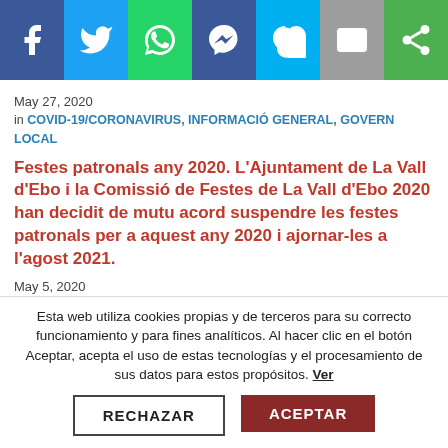[Figure (other): Social media sharing bar with icons for Facebook, Twitter, WhatsApp, Messenger, Skype, Email, and Share]
May 27, 2020
in COVID-19/CORONAVIRUS, INFORMACIÓ GENERAL, GOVERN LOCAL
Festes patronals any 2020. L'Ajuntament de La Vall d'Ebo i la Comissió de Festes de La Vall d'Ebo 2020 han decidit de mutu acord suspendre les festes patronals per a aquest any 2020 i ajornar-les a l'agost 2021.
May 5, 2020
in COVID-19/CORONAVIRUS, COMITÉ DE FESTES, FESTES, GOVERN LOCAL
Esta web utiliza cookies propias y de terceros para su correcto funcionamiento y para fines analíticos. Al hacer clic en el botón Aceptar, acepta el uso de estas tecnologías y el procesamiento de sus datos para estos propósitos. Ver
RECHAZAR
ACEPTAR